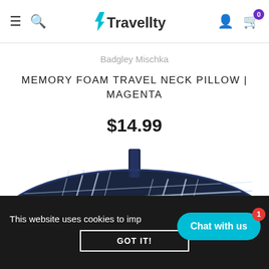Travellty — navigation header with hamburger menu, search, logo, user icon, cart (0)
Badgley Mischka
MEMORY FOAM TRAVEL NECK PILLOW | MAGENTA
$14.99
[Figure (photo): Close-up photo of a navy blue plaid/tartan patterned memory foam travel neck pillow against a white background]
This website uses cookies to imp
GOT IT!
Chat with us